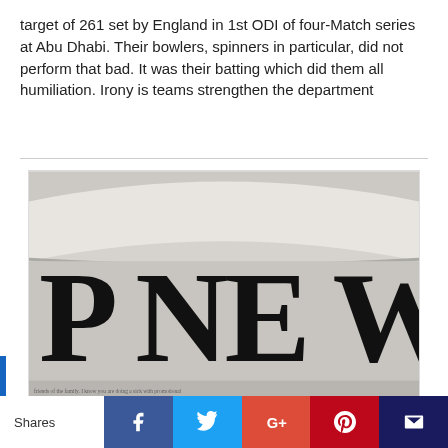target of 261 set by England in 1st ODI of four-Match series at Abu Dhabi. Their bowlers, spinners in particular, did not perform that bad. It was their batting which did them all humiliation. Irony is teams strengthen the department
[Figure (photo): Close-up photograph of a folded newspaper showing large bold text 'P NE' (part of 'TOP NEWS') and smaller body text below, in black and white.]
Shares | Facebook | Twitter | G+ | Pinterest | Mail